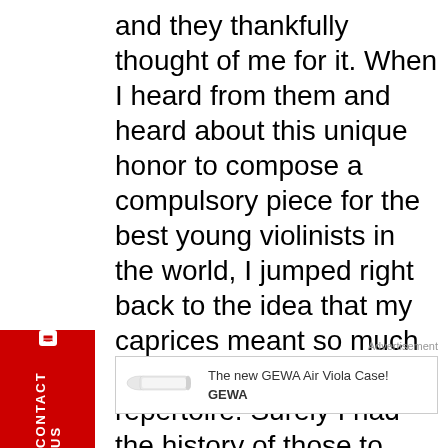and they thankfully thought of me for it. When I heard from them and heard about this unique honor to compose a compulsory piece for the best young violinists in the world, I jumped right back to the idea that my caprices meant so much to my solo violin repertoire. Surely I had the history of those to conjure another one! I loved the opportunity to make this happen.
CONTACT US
Advertisement
[Figure (other): Advertisement banner for GEWA Air Viola Case showing a violin case image with text 'The new GEWA Air Viola Case!' and the GEWA brand logo]